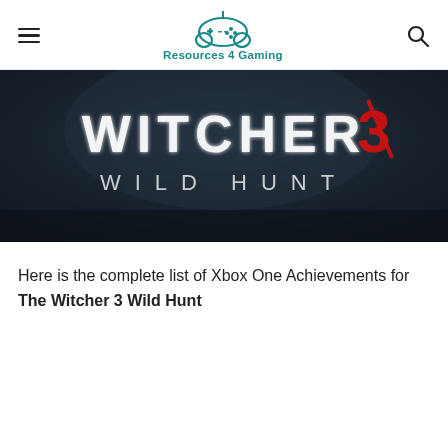Resources 4 Gaming
[Figure (photo): The Witcher 3 Wild Hunt game title banner — dark atmospheric background with white stylized 'WITCHER 3' text and 'WILD HUNT' subtitle, red lightning bolt on the 3]
Here is the complete list of Xbox One Achievements for The Witcher 3 Wild Hunt